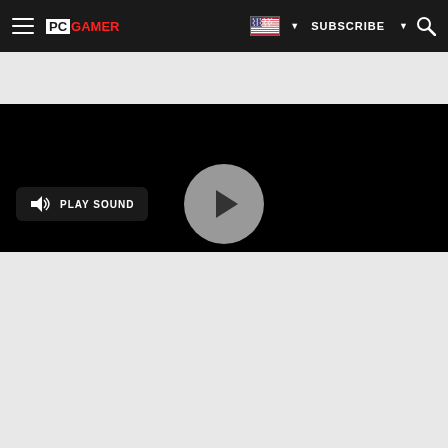PC GAMER — Navigation bar with hamburger menu, PC Gamer logo, US flag, SUBSCRIBE, and search icon
[Figure (screenshot): Black video player with a circular play button in the center and a 'PLAY SOUND' button with speaker icon on the left]
[Figure (screenshot): YouTube video embed showing 'Hearts of Iron IV - Together For Vic...' with Paradox Interactive channel icon and three-dot menu. Dark stylized game title art visible below the title bar.]